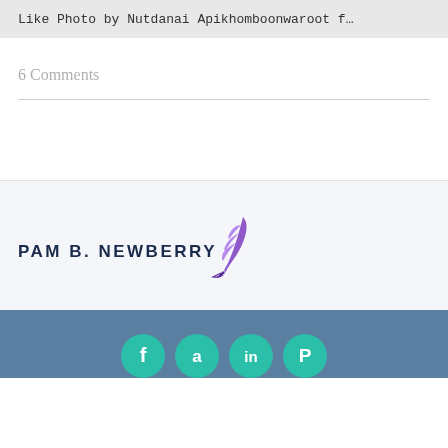Like Photo by Nutdanai Apikhomboonwaroot f…
6 Comments
[Figure (logo): PAM B. NEWBERRY logo with purple feather quill pen icon]
Social media icons: Facebook, Amazon, LinkedIn, Pinterest